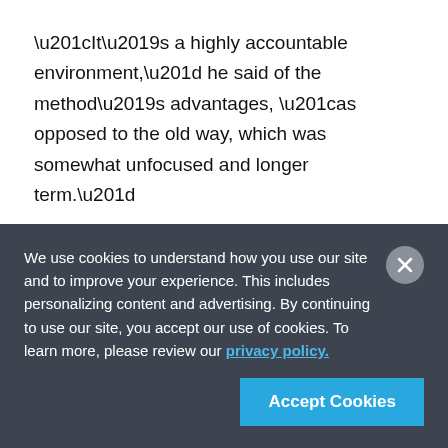“It’s a highly accountable environment,” he said of the method’s advantages, “as opposed to the old way, which was somewhat unfocused and longer term.”
In this case, which goes well beyond the 3D and lidar space, there is a general dissatisfaction with the amount of information that can be extracted from video, photographs, lidar and other imagery
We use cookies to understand how you use our site and to improve your experience. This includes personalizing content and advertising. By continuing to use our site, you accept our use of cookies. To learn more, please review our privacy policy.